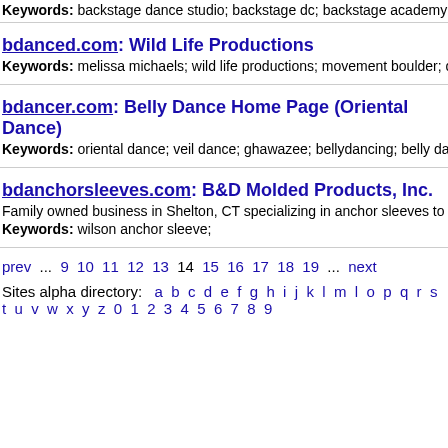Keywords: backstage dance studio; backstage dc; backstage academy; hip hop da...
bdanced.com: Wild Life Productions
Keywords: melissa michaels; wild life productions; movement boulder; dance mass;
bdancer.com: Belly Dance Home Page (Oriental Dance)
Keywords: oriental dance; veil dance; ghawazee; bellydancing; belly dance clackers
bdanchorsleeves.com: B&D Molded Products, Inc.
Family owned business in Shelton, CT specializing in anchor sleeves to serve the co...
Keywords: wilson anchor sleeve;
prev ... 9 10 11 12 13 14 15 16 17 18 19 ... next
Sites alpha directory: a b c d e f g h i j k l m l o p q r s t u v w x y z 0 1 2 3 4 5 6 7 8 9